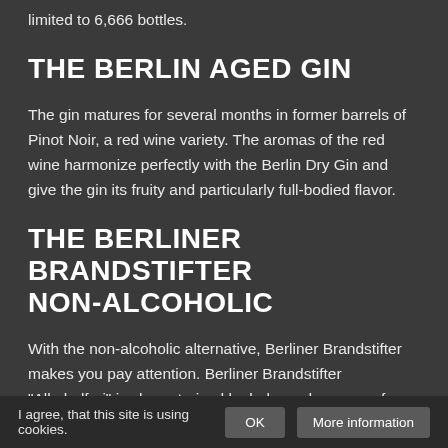limited to 6,666 bottles.
THE BERLIN AGED GIN
The gin matures for several months in former barrels of Pinot Noir, a red wine variety. The aromas of the red wine harmonize perfectly with the Berlin Dry Gin and give the gin its fruity and particularly full-bodied flavor.
THE BERLINER BRANDSTIFTER NON-ALCOHOLIC
With the non-alcoholic alternative, Berliner Brandstifter makes you pay attention. Berliner Brandstifter "Alkoholfrei" is characterized by balanced aromas of
I agree, that this site is using cookies.  OK  More information